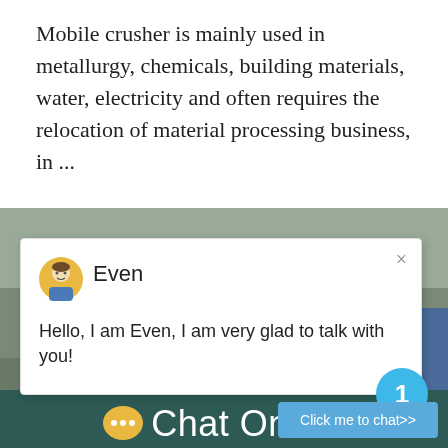Mobile crusher is mainly used in metallurgy, chemicals, building materials, water, electricity and often requires the relocation of material processing business, in ...
[Figure (screenshot): Screenshot of a webpage showing a mobile crusher photo in a rocky outdoor setting, overlaid with a chat popup from 'Even' saying 'Hello, I am Even, I am very glad to talk with you!', a blue notification badge showing '1', a 'Click me to chat>>' button, and a dark teal footer bar with a yellow speech bubble icon and 'Chat Online' text.]